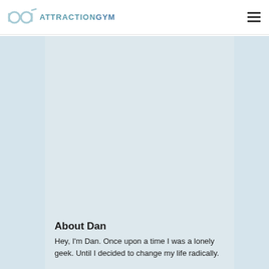ATTRACTIONGYM
About Dan
Hey, I'm Dan. Once upon a time I was a lonely geek. Until I decided to change my life radically.